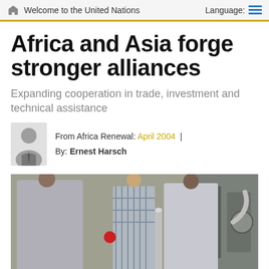Welcome to the United Nations   Language:
Africa and Asia forge stronger alliances
Expanding cooperation in trade, investment and technical assistance
From Africa Renewal: April 2004  |  By: Ernest Harsch
[Figure (photo): Two men in a workshop or factory setting, one in a grey suit and one in a light grey lab coat, appearing to examine or handle a small red object. A third person in a plaid shirt is visible in the background. Industrial equipment visible.]